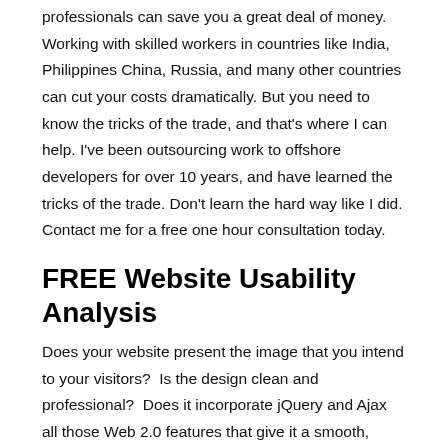professionals can save you a great deal of money. Working with skilled workers in countries like India, Philippines China, Russia, and many other countries can cut your costs dramatically. But you need to know the tricks of the trade, and that's where I can help. I've been outsourcing work to offshore developers for over 10 years, and have learned the tricks of the trade. Don't learn the hard way like I did. Contact me for a free one hour consultation today.
FREE Website Usability Analysis
Does your website present the image that you intend to your visitors?  Is the design clean and professional?  Does it incorporate jQuery and Ajax all those Web 2.0 features that give it a smooth, modern feel, or is it a an old HTML 4 site, circa 2002?  Is it based on responsive design so it looks the same on any device or browser?